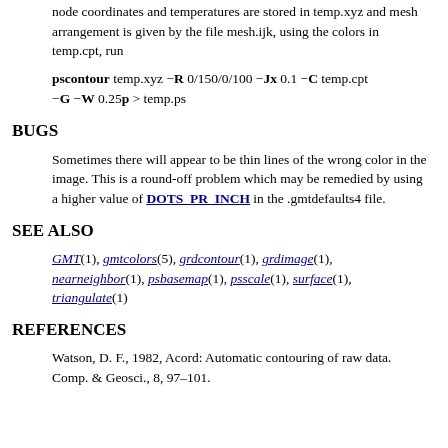node coordinates and temperatures are stored in temp.xyz and mesh arrangement is given by the file mesh.ijk, using the colors in temp.cpt, run
pscontour temp.xyz −R 0/150/0/100 −Jx 0.1 −C temp.cpt −G −W 0.25p > temp.ps
BUGS
Sometimes there will appear to be thin lines of the wrong color in the image. This is a round-off problem which may be remedied by using a higher value of DOTS_PR_INCH in the .gmtdefaults4 file.
SEE ALSO
GMT(1), gmtcolors(5), grdcontour(1), grdimage(1), nearneighbor(1), psbasemap(1), psscale(1), surface(1), triangulate(1)
REFERENCES
Watson, D. F., 1982, Acord: Automatic contouring of raw data. Comp. & Geosci., 8, 97–101.